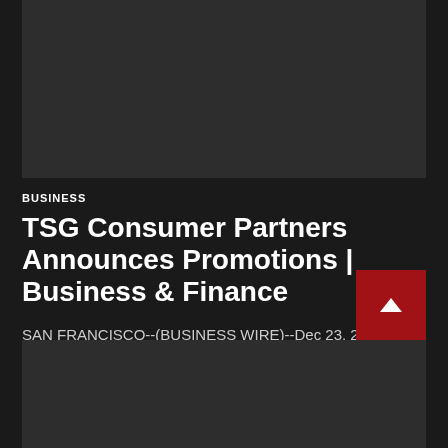[Figure (photo): Dark gray placeholder image block at top of page]
BUSINESS
TSG Consumer Partners Announces Promotions | Business & Finance
SAN FRANCISCO--(BUSINESS WIRE)--Dec 23, 2020--TSG Consumer Partners ("TSG"), a leading private equity firm, today announced the promotions of Beth Pickens to Managi...
Nikholas — December 30, 2020
[Figure (photo): Dark gray placeholder image block at bottom of page]